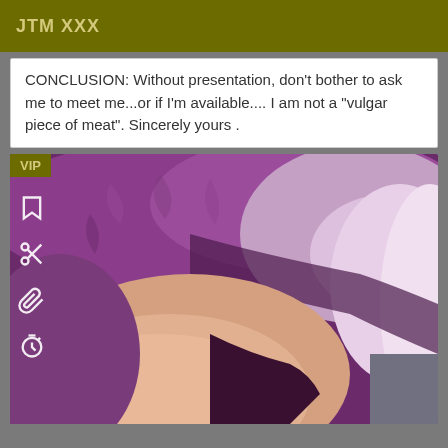JTM XXX
CONCLUSION: Without presentation, don't bother to ask me to meet me...or if I'm available.... I am not a "vulgar piece of meat". Sincerely yours .
[Figure (photo): Close-up photo of a person with purple/violet fuzzy fabric or fur visible, with a VIP badge in top-left corner and app icons (bookmark, scissors, paperclip, timer) along the left side]